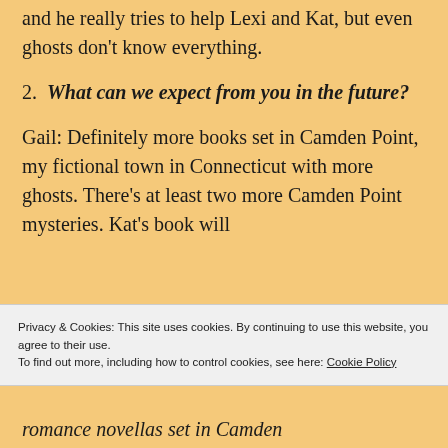and he really tries to help Lexi and Kat, but even ghosts don't know everything.
2. What can we expect from you in the future?
Gail: Definitely more books set in Camden Point, my fictional town in Connecticut with more ghosts. There's at least two more Camden Point mysteries. Kat's book will
Privacy & Cookies: This site uses cookies. By continuing to use this website, you agree to their use. To find out more, including how to control cookies, see here: Cookie Policy
Close and accept
romance novellas set in Camden